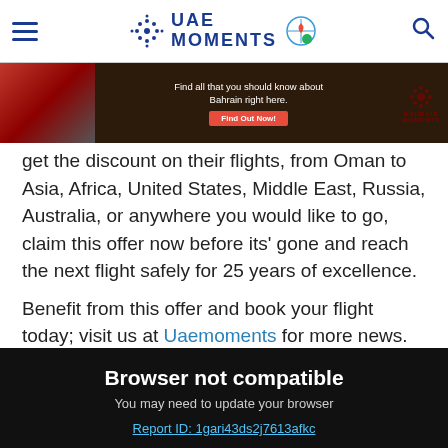UAE Moments
[Figure (screenshot): Advertisement banner for Bahrain Moments with text 'Find all that you should know about Bahrain right here. Find Out Now!']
get the discount on their flights, from Oman to Asia, Africa, United States, Middle East, Russia, Australia, or anywhere you would like to go, claim this offer now before its' gone and reach the next flight safely for 25 years of excellence.
Benefit from this offer and book your flight today; visit us at Uaemoments for more news.
Browser not compatible
You may need to update your browser
Report ID: 1gari43ds2j7613afkc